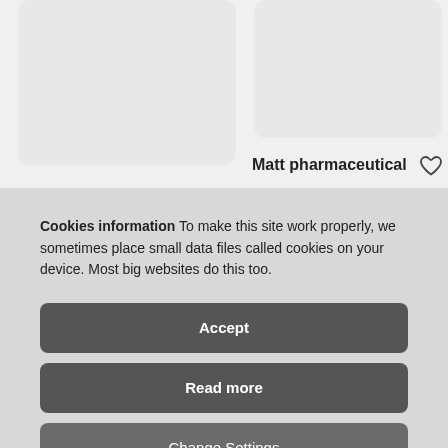[Figure (illustration): Two product card placeholders (gray rounded rectangles) at top of page]
Matt pharmaceutical ♡
Cookies information To make this site work properly, we sometimes place small data files called cookies on your device. Most big websites do this too.
Accept
Read more
Change Settings